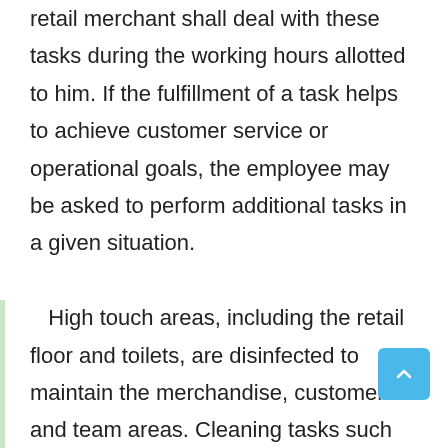retail merchant shall deal with these tasks during the working hours allotted to him. If the fulfillment of a task helps to achieve customer service or operational goals, the employee may be asked to perform additional tasks in a given situation.

High touch areas, including the retail floor and toilets, are disinfected to maintain the merchandise, customer and team areas. Cleaning tasks such as wiping, dusting, cleaning counters and mirrors, refilling toilet supplies, support in the maintenance of goods and customers in the team area.